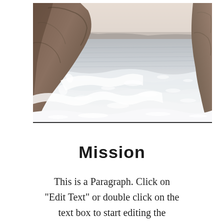[Figure (photo): Coastal scene with rocky cliffs on the left and right sides, ocean waves washing over a rocky/sandy shore in the foreground. Light hazy sky and distant hills or cliffs in the background. White sea foam dominates the lower half.]
Mission
This is a Paragraph. Click on "Edit Text" or double click on the text box to start editing the